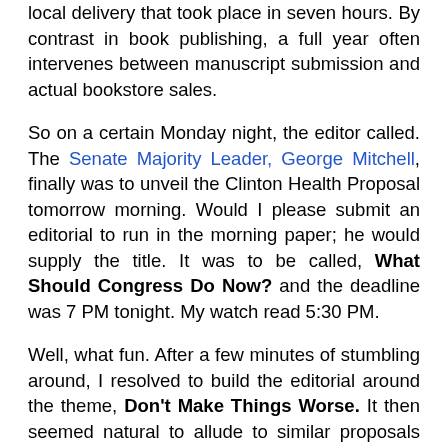Washington D.C. editing, Kansas City printing and local delivery that took place in seven hours. By contrast in book publishing, a full year often intervenes between manuscript submission and actual bookstore sales.
So on a certain Monday night, the editor called. The Senate Majority Leader, George Mitchell, finally was to unveil the Clinton Health Proposal tomorrow morning. Would I please submit an editorial to run in the morning paper; he would supply the title. It was to be called, What Should Congress Do Now? and the deadline was 7 PM tonight. My watch read 5:30 PM.
Well, what fun. After a few minutes of stumbling around, I resolved to build the editorial around the theme, Don't Make Things Worse. It then seemed natural to allude to similar proposals gone famously wrong, define some predictable traps, and end up with Hippocrates. Over and over it is thundered at medical students: Primum